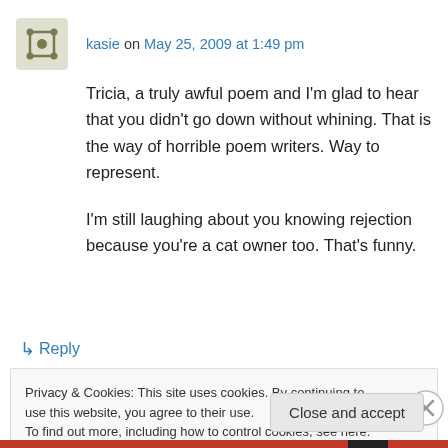kasie on May 25, 2009 at 1:49 pm
Tricia, a truly awful poem and I'm glad to hear that you didn't go down without whining. That is the way of horrible poem writers. Way to represent.

I'm still laughing about you knowing rejection because you're a cat owner too. That's funny.
↳ Reply
Privacy & Cookies: This site uses cookies. By continuing to use this website, you agree to their use.
To find out more, including how to control cookies, see here: Cookie Policy